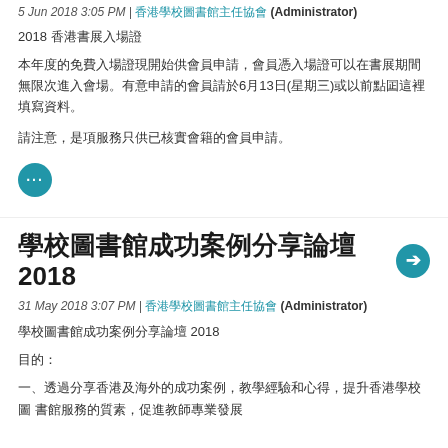5 Jun 2018 3:05 PM | 香港學校圖書館主任協會 (Administrator)
2018 香港書展入場證
本年度的免費入場證現開始供會員申請，會員憑入場證可以在書展期間無限次進入會場。有意申請的會員請於6月13日(星期三)或以前點擊這裡填寫資料。
請注意，是項服務只供已核實會籍的會員申請。
學校圖書館成功案例分享論壇2018
31 May 2018 3:07 PM | 香港學校圖書館主任協會 (Administrator)
學校圖書館成功案例分享論壇 2018
目的：
一、透過分享香港及海外的成功案例，教學經驗和心得，提升香港學校圖 書館服務的質素，促進教師專業發展